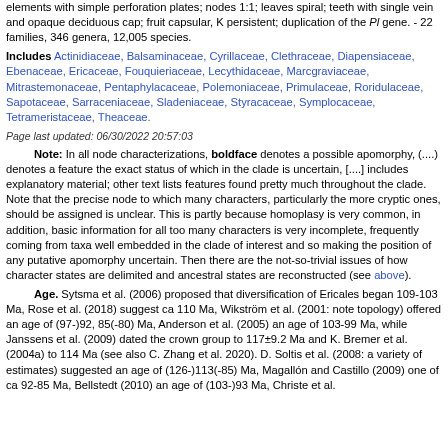elements with simple perforation plates; nodes 1:1; leaves spiral; teeth with single vein and opaque deciduous cap; fruit capsular, K persistent; duplication of the Pl gene. - 22 families, 346 genera, 12,005 species.
Includes Actinidiaceae, Balsaminaceae, Cyrillaceae, Clethraceae, Diapensiaceae, Ebenaceae, Ericaceae, Fouquieriaceae, Lecythidaceae, Marcgraviaceae, Mitrastemonaceae, Pentaphylacaceae, Polemoniaceae, Primulaceae, Roridulaceae, Sapotaceae, Sarraceniaceae, Sladeniaceae, Styracaceae, Symplocaceae, Tetrameristaceae, Theaceae.
Page last updated: 06/30/2022 20:57:03
Note: In all node characterizations, boldface denotes a possible apomorphy, (....) denotes a feature the exact status of which in the clade is uncertain, [....] includes explanatory material; other text lists features found pretty much throughout the clade. Note that the precise node to which many characters, particularly the more cryptic ones, should be assigned is unclear. This is partly because homoplasy is very common, in addition, basic information for all too many characters is very incomplete, frequently coming from taxa well embedded in the clade of interest and so making the position of any putative apomorphy uncertain. Then there are the not-so-trivial issues of how character states are delimited and ancestral states are reconstructed (see above).
Age. Sytsma et al. (2006) proposed that diversification of Ericales began 109-103 Ma, Rose et al. (2018) suggest ca 110 Ma, Wikström et al. (2001: note topology) offered an age of (97-)92, 85(-80) Ma, Anderson et al. (2005) an age of 103-99 Ma, while Janssens et al. (2009) dated the crown group to 117±9.2 Ma and K. Bremer et al. (2004a) to 114 Ma (see also C. Zhang et al. 2020). D. Soltis et al. (2008: a variety of estimates) suggested an age of (126-)113(-85) Ma, Magallón and Castillo (2009) one of ca 92-85 Ma, Bellstedt (2010) an age of (103-)93 Ma, Christe et al.